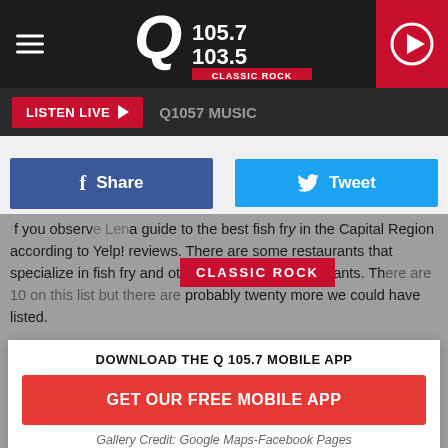Q 105.7 / 103.5 CLASSIC ROCK
LISTEN LIVE  Q1057 MUSIC
Share   Tweet
If you observe Lent, here is a guide to the best fish fry in the Capital Region according to Yelp! reviews. There are some restaurants that specialize in fish fry and others that are full restaurants. There are 10 on this list but there are probably twenty more we could have listed.
DOWNLOAD THE Q 105.7 MOBILE APP
GET OUR FREE MOBILE APP
Gallery Credit: Google Maps-Facebook Pages
Also listen on:  amazon alexa